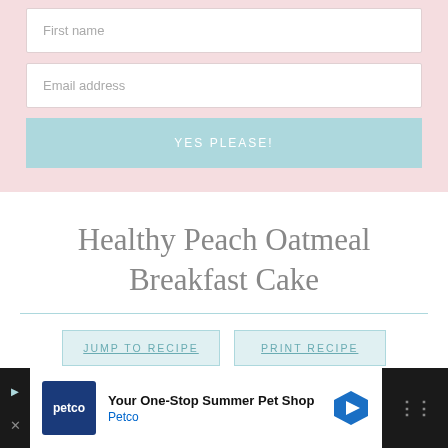[Figure (screenshot): Input field with placeholder text 'First name' on pink background]
[Figure (screenshot): Input field with placeholder text 'Email address' on pink background]
[Figure (screenshot): Button labeled 'YES PLEASE!' in light blue]
Healthy Peach Oatmeal Breakfast Cake
[Figure (screenshot): Two buttons: 'JUMP TO RECIPE' and 'PRINT RECIPE' in light blue]
[Figure (screenshot): Advertisement bar at bottom: Petco 'Your One-Stop Summer Pet Shop']